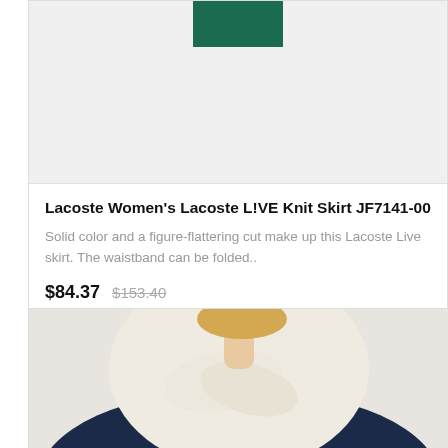[Figure (photo): Partial view of a green teal product swatch/color block at the top of a product card, with light gray background below it]
Lacoste Women's Lacoste L!VE Knit Skirt JF7141-00
Solid color and a figure-flattering cut make up this Lacoste Live skirt. The waistband can be folded..
$84.37  $153.40
[Figure (photo): Close-up photo of a model wearing a cream/ivory colored Lacoste sweater or hoodie with navy blue clothing underneath, showing the neck and shoulder area]